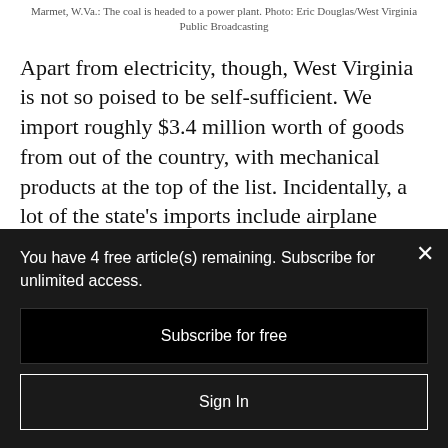Marmet, W.Va.: The coal is headed to a power plant. Photo: Eric Douglas/West Virginia Public Broadcasting
Apart from electricity, though, West Virginia is not so poised to be self-sufficient. We import roughly $3.4 million worth of goods from out of the country, with mechanical products at the top of the list. Incidentally, a lot of the state's imports include airplane parts, so we
You have 4 free article(s) remaining. Subscribe for unlimited access.
Subscribe for free
Sign In